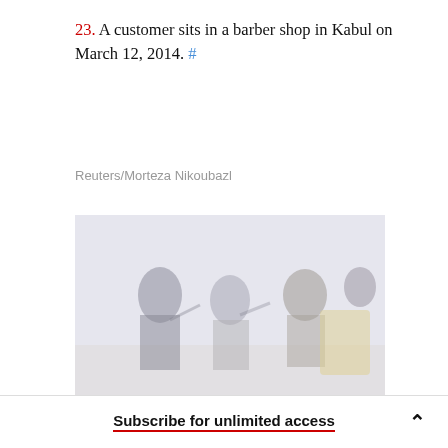23. A customer sits in a barber shop in Kabul on March 12, 2014. #
Reuters/Morteza Nikoubazl
[Figure (photo): A faded/washed-out photograph showing people in a barber shop in Kabul. Multiple figures are visible, one seated and one standing, with a yellow chair visible on the right side.]
24. A female Afghan power lifter...
Subscribe for unlimited access